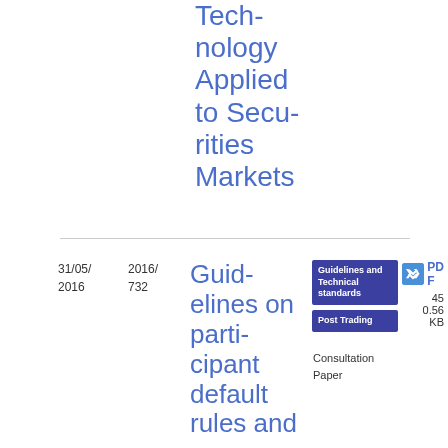Technology Applied to Securities Markets
31/05/2016
2016/732
Guidelines on participant default rules and procedures
Guidelines and Technical standards
Post Trading
Consultation Paper
PDF 45 0.56 KB